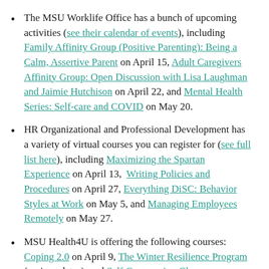The MSU Worklife Office has a bunch of upcoming activities (see their calendar of events), including Family Affinity Group (Positive Parenting): Being a Calm, Assertive Parent on April 15, Adult Caregivers Affinity Group: Open Discussion with Lisa Laughman and Jaimie Hutchison on April 22, and Mental Health Series: Self-care and COVID on May 20.
HR Organizational and Professional Development has a variety of virtual courses you can register for (see full list here), including Maximizing the Spartan Experience on April 13, Writing Policies and Procedures on April 27, Everything DiSC: Behavior Styles at Work on May 5, and Managing Employees Remotely on May 27.
MSU Health4U is offering the following courses: Coping 2.0 on April 9, The Winter Resilience Program (various dates), and Self Compassion Class